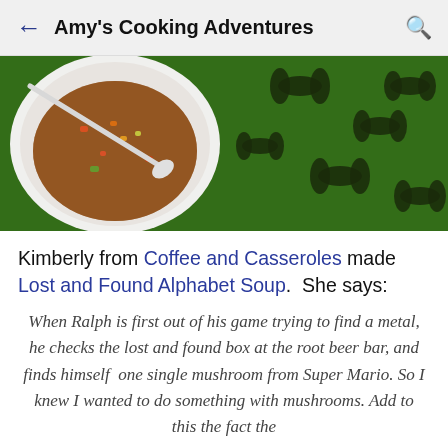Amy's Cooking Adventures
[Figure (photo): Top-down view of a white bowl of vegetable soup with a spoon, next to a green and black Halloween-themed decorative surface with bat patterns.]
Kimberly from Coffee and Casseroles made Lost and Found Alphabet Soup.  She says:
When Ralph is first out of his game trying to find a metal, he checks the lost and found box at the root beer bar, and finds himself  one single mushroom from Super Mario. So I knew I wanted to do something with mushrooms. Add to this the fact the